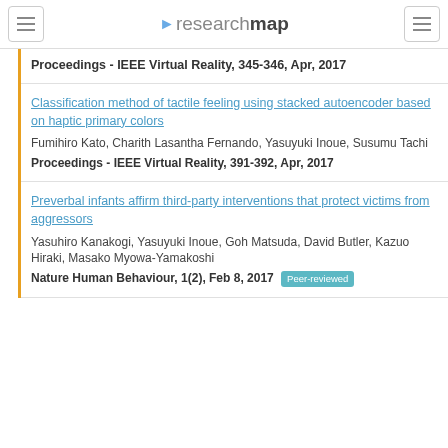researchmap
Proceedings - IEEE Virtual Reality, 345-346, Apr, 2017
Classification method of tactile feeling using stacked autoencoder based on haptic primary colors
Fumihiro Kato, Charith Lasantha Fernando, Yasuyuki Inoue, Susumu Tachi
Proceedings - IEEE Virtual Reality, 391-392, Apr, 2017
Preverbal infants affirm third-party interventions that protect victims from aggressors
Yasuhiro Kanakogi, Yasuyuki Inoue, Goh Matsuda, David Butler, Kazuo Hiraki, Masako Myowa-Yamakoshi
Nature Human Behaviour, 1(2), Feb 8, 2017 [Peer-reviewed]